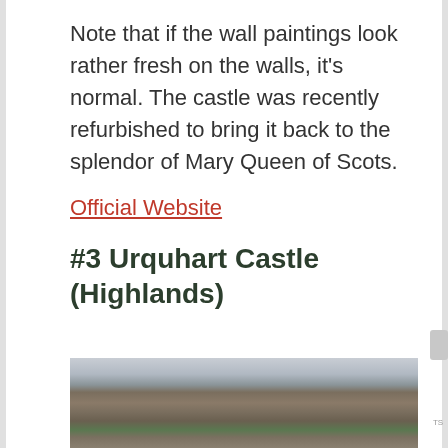Note that if the wall paintings look rather fresh on the walls, it's normal. The castle was recently refurbished to bring it back to the splendor of Mary Queen of Scots.
Official Website
#3 Urquhart Castle (Highlands)
[Figure (photo): Photo of Urquhart Castle ruins in the Highlands, showing stone towers and walls with a loch and overcast sky in the background.]